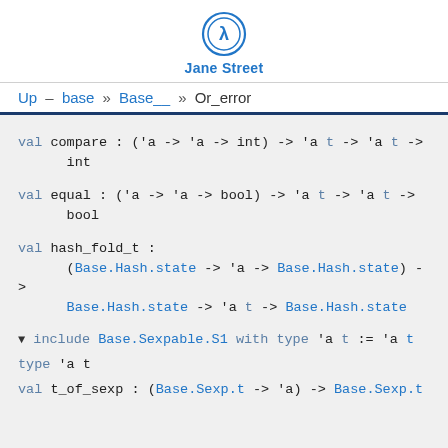Jane Street
Up – base » Base__ » Or_error
val compare : ('a -> 'a -> int) -> 'a t -> 'a t -> int
val equal : ('a -> 'a -> bool) -> 'a t -> 'a t -> bool
val hash_fold_t : (Base.Hash.state -> 'a -> Base.Hash.state) -> Base.Hash.state -> 'a t -> Base.Hash.state
▼ include Base.Sexpable.S1 with type 'a t := 'a t
type 'a t
val t_of_sexp : (Base.Sexp.t -> 'a) -> Base.Sexp.t